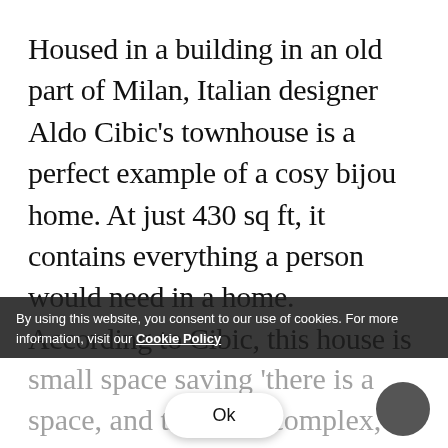Housed in a building in an old part of Milan, Italian designer Aldo Cibic's townhouse is a perfect example of a cosy bijou home. At just 430 sq ft, it contains everything a person would need in a home. According to Cibic, this house is a model for future dwellings as the cities continue to become densely inhabited. With just the bare essentials of a home: a living room, a small kitchen and an alcove bedroom, Cibic shares his idea of a small space saving 'there is a space, and the most complex, delic…rk is to ensure that
By using this website, you consent to our use of cookies. For more information, visit our Cookie Policy